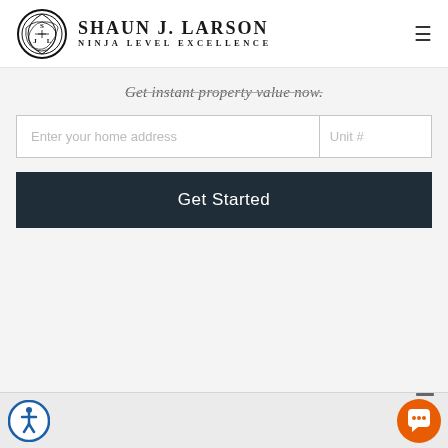[Figure (logo): Shaun J. Larson Ninja Level Excellence logo with circular emblem]
Get instant property value now.
[Figure (screenshot): Web form with 'Enter your home address' and 'Unit #' input fields, and a 'Get Started' dark button below]
[Figure (illustration): Accessibility icon (person in circle) at bottom left, orange chat bubble icon at bottom right]